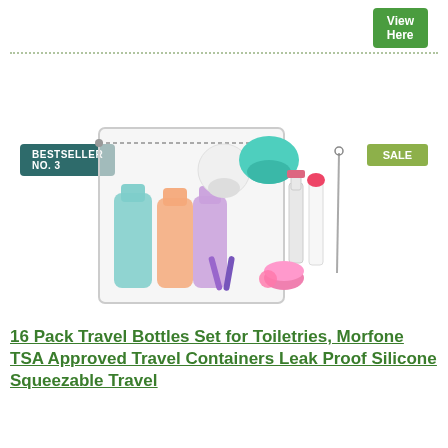View Here
BESTSELLER NO. 3
SALE
[Figure (photo): 16-pack travel bottles set in a clear zippered bag, including colorful silicone squeeze bottles, spray bottles, small jars, and accessories.]
16 Pack Travel Bottles Set for Toiletries, Morfone TSA Approved Travel Containers Leak Proof Silicone Squeezable Travel Accessories for Carry-On...